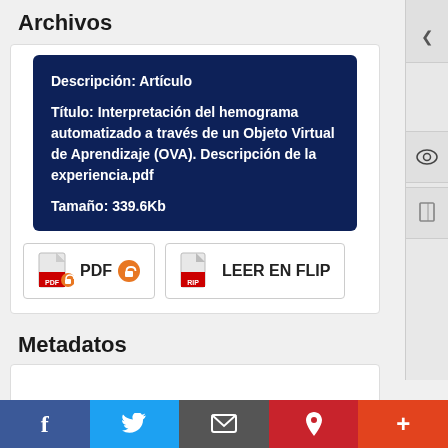Archivos
Descripción: Artículo
Título: Interpretación del hemograma automatizado a través de un Objeto Virtual de Aprendizaje (OVA). Descripción de la experiencia.pdf
Tamaño: 339.6Kb
PDF   LEER EN FLIP
Metadatos
Mostrar el registro completo del ítem
f   Twitter   mail   p   +